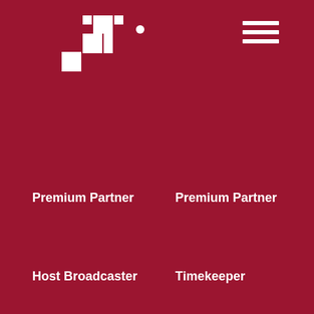[Figure (logo): White pixel/dot grid logo resembling a stylized connected squares pattern with a dot, on dark red background]
[Figure (other): Hamburger menu icon (three white horizontal lines) in top right corner]
Premium Partner
Premium Partner
Host Broadcaster
Timekeeper